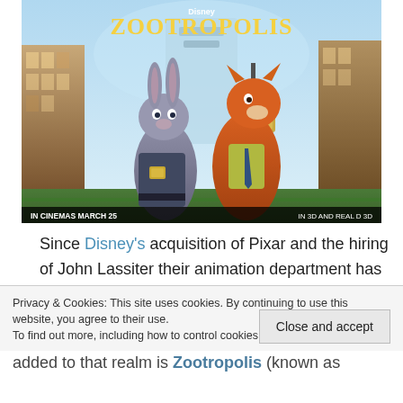[Figure (photo): Zootropolis Disney movie poster showing two animated characters — a bunny in police uniform and a fox in a shirt and tie — standing in a city street. Text reads 'Disney ZOOTROPOLIS', 'IN CINEMAS MARCH 25', 'IN 3D AND REAL D 3D'.]
Since Disney's acquisition of Pixar and the hiring of John Lassiter their animation department has gone through a bit of a resurgence. Everyone is aware of
Privacy & Cookies: This site uses cookies. By continuing to use this website, you agree to their use.
To find out more, including how to control cookies, see here: Cookie Policy
Close and accept
added to that realm is Zootropolis (known as